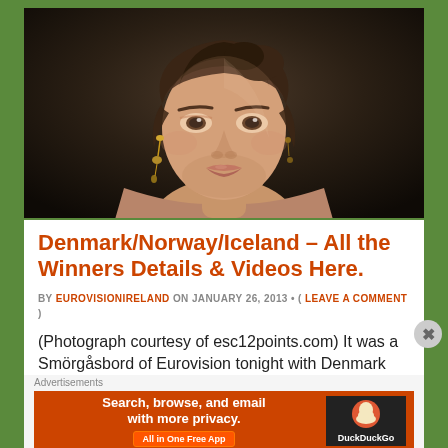[Figure (photo): Portrait photograph of a young woman with brown hair pulled up, wearing gold dangling earrings, against a dark background. Photo credit: esc12points.com]
Denmark/Norway/Iceland – All the Winners Details & Videos Here.
BY EUROVISIONIRELAND ON JANUARY 26, 2013 • ( LEAVE A COMMENT )
(Photograph courtesy of esc12points.com) It was a Smörgåsbord of Eurovision tonight with Denmark selecting their representative for Eurovision 2013.
Advertisements
[Figure (screenshot): DuckDuckGo advertisement banner: 'Search, browse, and email with more privacy. All in One Free App' with DuckDuckGo duck logo on dark background on right side.]